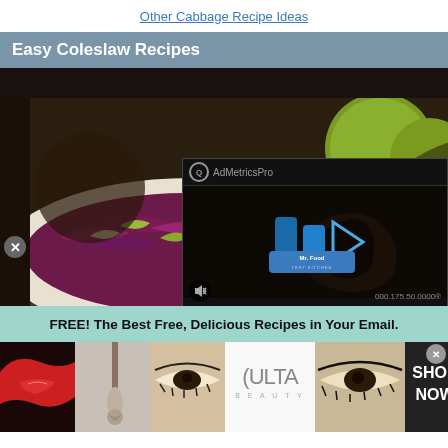Other Cabbage Recipe Ideas
Easy Coleslaw Recipes
[Figure (photo): Photo of red cabbage and apple coleslaw on a white plate, with green apples in the background, overlaid by a video ad player showing AdMetricsPro branding and Mr. Food Test Kitchen logo, with a mute button]
FREE! The Best Free, Delicious Recipes in Your Email.
[Figure (photo): Beauty advertisement banner featuring close-up images of lips, makeup brush, eyes, Ulta Beauty logo, more eye makeup closeup, and a SHOP NOW button on dark background]